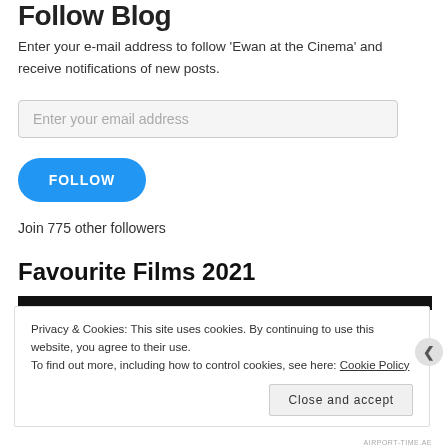Follow Blog
Enter your e-mail address to follow 'Ewan at the Cinema' and receive notifications of new posts.
Enter your email address
FOLLOW
Join 775 other followers
Favourite Films 2021
Privacy & Cookies: This site uses cookies. By continuing to use this website, you agree to their use.
To find out more, including how to control cookies, see here: Cookie Policy
Close and accept